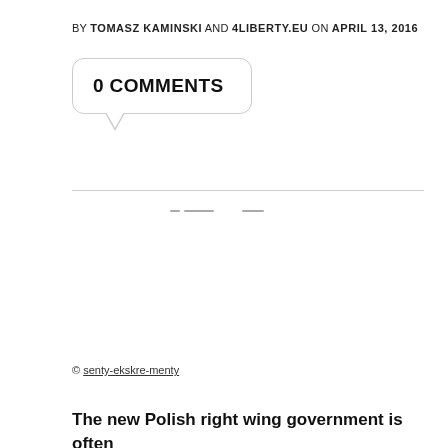BY TOMASZ KAMINSKI AND 4LIBERTY.EU ON APRIL 13, 2016
0 COMMENTS
© senty-ekskre-menty
The new Polish right wing government is often